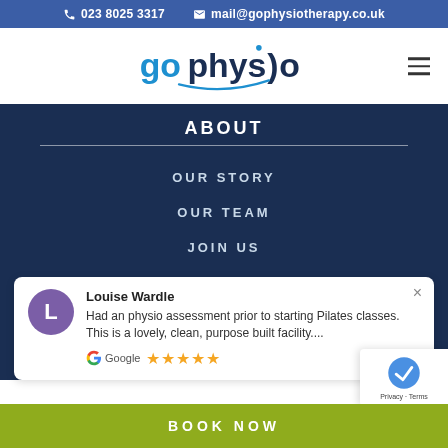023 8025 3317  mail@gophysiotherapy.co.uk
[Figure (logo): GoPhysio logo with stylized text and checkmark swoosh]
ABOUT
OUR STORY
OUR TEAM
JOIN US
Louise Wardle
Had an physio assessment prior to starting Pilates classes. This is a lovely, clean, purpose built facility.... Google ★★★★★
BOOK NOW